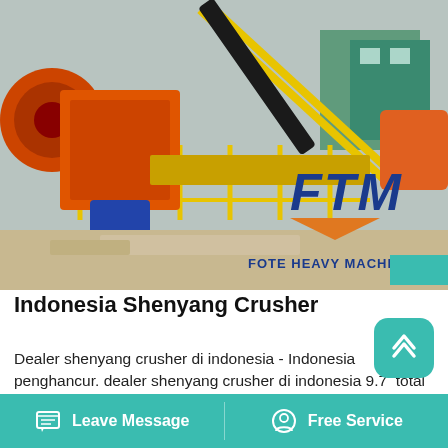[Figure (photo): Industrial crushing/screening machinery and conveyor belts at a construction or mining site, with orange, yellow, and black equipment. FTM logo (Fote Heavy Machinery) visible in the bottom right of the image.]
Indonesia Shenyang Crusher
Dealer shenyang crusher di indonesia - Indonesia penghancur. dealer shenyang crusher di indonesia 9.7  total 10   1420 peringkat 2840 pengguna Ulasan dealer shenyang crusher di indonesia Ini adalah daftar solusi tentang dealer shenyang crusher di indonesia , dan ada tombol obrolan yang Anda
Leave Message   Free Service